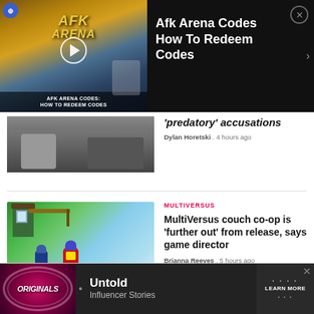[Figure (screenshot): Video thumbnail overlay for AFK Arena Codes: How To Redeem Codes, with play button and title text overlaid on game imagery]
Afk Arena Codes How To Redeem Codes
"predatory" accusations
Dylan Horetski . 4 hours ago
[Figure (screenshot): MultiVersus game screenshot showing cartoon characters (Superman and another character) fighting on a platform stage]
MULTIVERSUS
MultiVersus couch co-op is 'further out' from release, says game director
Brianna Reeves . 5 hours ago
[Figure (screenshot): Advertisement banner showing Originals logo with Untold Influencer Stories promotion and Learn More button]